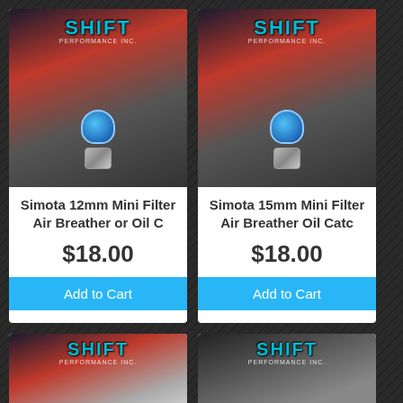[Figure (photo): Product photo of Simota 12mm Mini Filter Air Breather or Oil Catch with SHIFT Performance logo banner, blue mini filter and silver adapter]
Simota 12mm Mini Filter Air Breather or Oil C
$18.00
Add to Cart
[Figure (photo): Product photo of Simota 15mm Mini Filter Air Breather Oil Catch with SHIFT Performance logo banner, blue mini filter and silver adapter]
Simota 15mm Mini Filter Air Breather Oil Catc
$18.00
Add to Cart
[Figure (photo): Partial product photo bottom left with SHIFT Performance logo]
[Figure (photo): Partial product photo bottom right with SHIFT Performance logo]